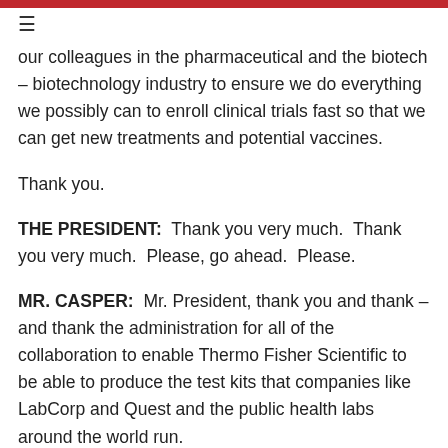≡
our colleagues in the pharmaceutical and the biotech – biotechnology industry to ensure we do everything we possibly can to enroll clinical trials fast so that we can get new treatments and potential vaccines.
Thank you.
THE PRESIDENT:  Thank you very much.  Thank you very much.  Please, go ahead.  Please.
MR. CASPER:  Mr. President, thank you and thank – and thank the administration for all of the collaboration to enable Thermo Fisher Scientific to be able to produce the test kits that companies like LabCorp and Quest and the public health labs around the world run.